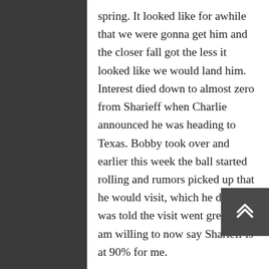spring. It looked like for awhile that we were gonna get him and the closer fall got the less it looked like we would land him. Interest died down to almost zero from Sharieff when Charlie announced he was heading to Texas. Bobby took over and earlier this week the ball started rolling and rumors picked up that he would visit, which he did. I was told the visit went great and I am willing to now say Sharieff is at 90% for me.
19) Shaq Jones flipped to Georgia (click